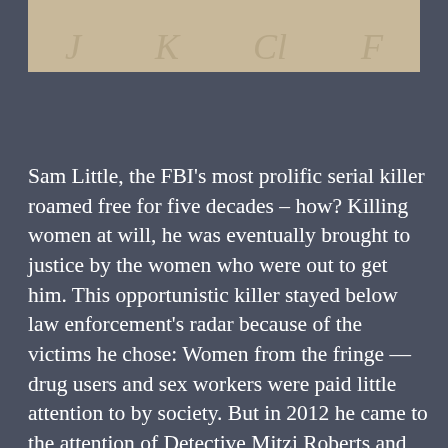[Figure (photo): Partial view of a book cover showing faded letter graphics on a light tan/beige background]
Sam Little, the FBI's most prolific serial killer roamed free for five decades – how? Killing women at will, he was eventually brought to justice by the women who were out to get him. This opportunistic killer stayed below law enforcement's radar because of the victims he chose: Women from the fringe — drug users and sex workers were paid little attention to by society. But in 2012 he came to the attention of Detective Mitzi Roberts and everything changed. The Los Angeles Police Department cold case investigator relentlessly hunted Little across the